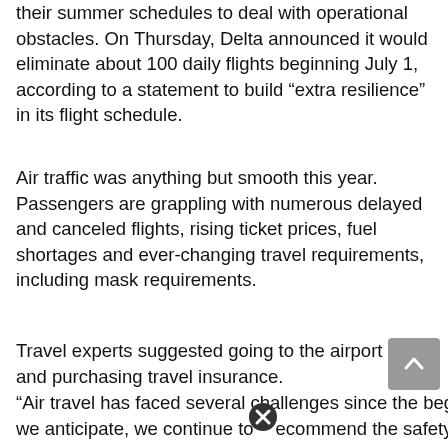their summer schedules to deal with operational obstacles. On Thursday, Delta announced it would eliminate about 100 daily flights beginning July 1, according to a statement to build “extra resilience” in its flight schedule.
Air traffic was anything but smooth this year. Passengers are grappling with numerous delayed and canceled flights, rising ticket prices, fuel shortages and ever-changing travel requirements, including mask requirements.
Travel experts suggested going to the airport early and purchasing travel insurance.
“Air travel has faced several challenges since the beginning of the year,” said Ms Twidale. “At the volume we anticipate, we continue to recommend the safety net